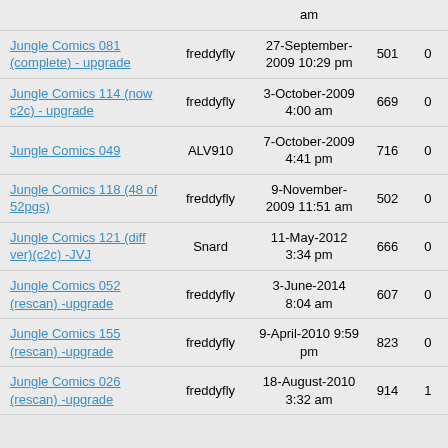| Title | User | Date | Views | Replies |
| --- | --- | --- | --- | --- |
| Jungle Comics 081 (complete) - upgrade | freddyfly | 27-September-2009 10:29 pm | 501 | 0 |
| Jungle Comics 114 (now c2c) - upgrade | freddyfly | 3-October-2009 4:00 am | 669 | 0 |
| Jungle Comics 049 | ALV910 | 7-October-2009 4:41 pm | 716 | 0 |
| Jungle Comics 118 (48 of 52pgs) | freddyfly | 9-November-2009 11:51 am | 502 | 0 |
| Jungle Comics 121 (diff ver)(c2c) -JVJ | Snard | 11-May-2012 3:34 pm | 666 | 0 |
| Jungle Comics 052 (rescan) -upgrade | freddyfly | 3-June-2014 8:04 am | 607 | 0 |
| Jungle Comics 155 (rescan) -upgrade | freddyfly | 9-April-2010 9:59 pm | 823 | 0 |
| Jungle Comics 026 (rescan) -upgrade | freddyfly | 18-August-2010 3:32 am | 914 | 1 |